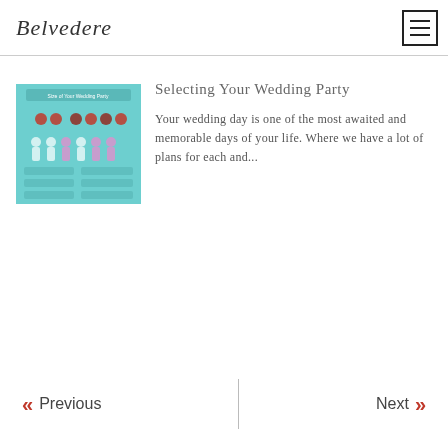Belvedere
[Figure (illustration): Thumbnail image with teal/turquoise background showing wedding party infographic with heart and figure icons, blurred.]
Selecting Your Wedding Party
Your wedding day is one of the most awaited and memorable days of your life. Where we have a lot of plans for each and...
<< Previous | Next >>